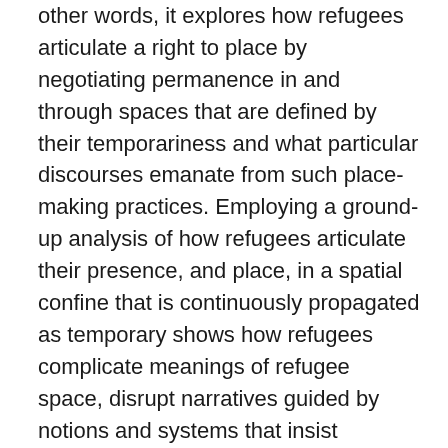other words, it explores how refugees articulate a right to place by negotiating permanence in and through spaces that are defined by their temporariness and what particular discourses emanate from such place-making practices. Employing a ground-up analysis of how refugees articulate their presence, and place, in a spatial confine that is continuously propagated as temporary shows how refugees complicate meanings of refugee space, disrupt narratives guided by notions and systems that insist temporariness, and bring awareness to the particular political, social, and economic conditions. Two specific refugee contexts - Palestinian refugees in Lebanon and refugees and migrants in Calais,